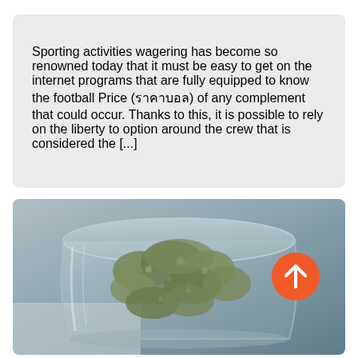Sporting activities wagering has become so renowned today that it must be easy to get on the internet programs that are fully equipped to know the football Price (ราคาบอล) of any complement that could occur. Thanks to this, it is possible to rely on the liberty to option around the crew that is considered the [...]
[Figure (photo): A glass jar filled with cannabis buds, photographed from above at a slight angle, on a grey background. An orange circular scroll-up button with a white upward arrow is overlaid in the upper-right area of the image.]